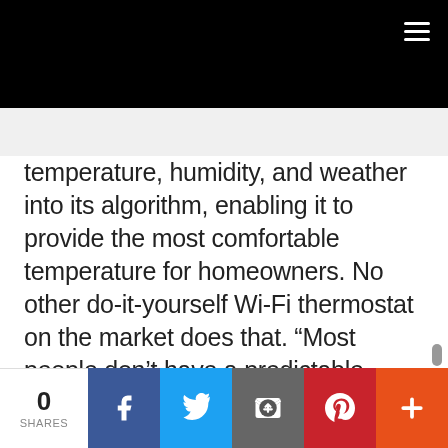temperature, humidity, and weather into its algorithm, enabling it to provide the most comfortable temperature for homeowners. No other do-it-yourself Wi-Fi thermostat on the market does that. “Most people don’t have a predictable pattern to how they live their lives; why not have a thermostat that adjusts based on your real-time schedule?” says Beth Wozniak, president of Honeywell Environmental and Combustion Controls. “With the Lyric
0 SHARES | Facebook | Twitter | Email | Pinterest | More